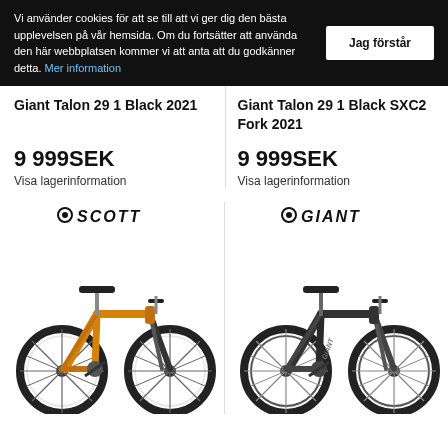Vi använder cookies för att se till att vi ger dig den bästa upplevelsen på vår hemsida. Om du fortsätter att använda den här webbplatsen kommer vi att anta att du godkänner detta. Mer information
Jag förstår
Giant Talon 29 1 Black 2021
Giant Talon 29 1 Black SXC2 Fork 2021
9 999SEK
9 999SEK
Visa lagerinformation
Visa lagerinformation
[Figure (logo): Scott brand logo in italic bold font]
[Figure (photo): Orange mountain bike (Scott brand), full side view on white background]
[Figure (logo): Giant brand logo in italic bold font]
[Figure (photo): Black/dark mountain bike (Giant brand), full side view on white background]